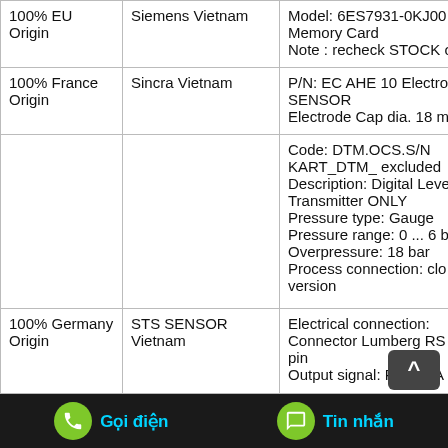| Origin | Supplier | Product Details |
| --- | --- | --- |
| 100% EU Origin | Siemens Vietnam | Model: 6ES7931-0KJ00
Memory Card
Note : recheck STOCK order |
| 100% France Origin | Sincra Vietnam | P/N: EC AHE 10 Electro SENSOR
Electrode Cap dia. 18 m |
|  |  | Code: DTM.OCS.S/N
KART_DTM_ excluded
Description: Digital Level Transmitter ONLY
Pressure type: Gauge
Pressure range: 0 ... 6 b
Overpressure: 18 bar
Process connection: clo version
Electrical connection: Connector Lumberg RS pin |
| 100% Germany Origin | STS SENSOR Vietnam | Electrical connection: Connector Lumberg RS
Output signal: RS485 A |